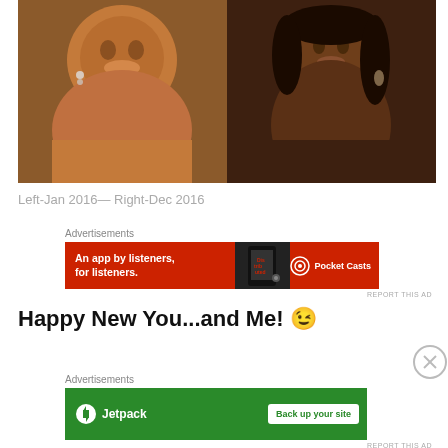[Figure (photo): Side-by-side comparison photos: left photo shows a smiling woman (Jan 2016), right photo shows the same woman looking slimmer (Dec 2016)]
Left-Jan 2016— Right-Dec 2016
Advertisements
[Figure (infographic): Pocket Casts advertisement banner: red background, text 'An app by listeners, for listeners.' with phone graphic and Pocket Casts logo]
REPORT THIS AD
Happy New You...and Me! 😉
Advertisements
[Figure (infographic): Jetpack advertisement banner: green background with Jetpack logo on left and 'Back up your site' button on right]
REPORT THIS AD